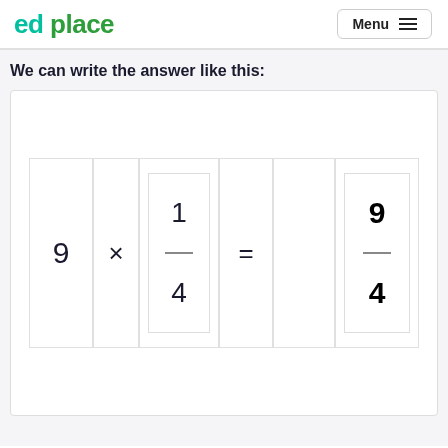ed place | Menu
We can write the answer like this:
[Figure (math-figure): Mathematical equation showing 9 × 1/4 = 9/4, displayed as a fraction multiplication with boxes showing the numerator 1, denominator 4, and result 9 over 4]